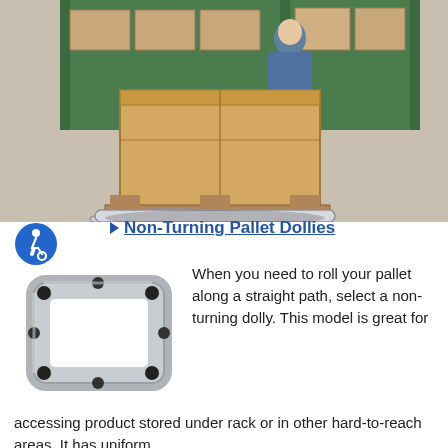[Figure (photo): A worker in a blue shirt standing behind a large wooden pallet box/crate in a warehouse with green shelving and cardboard boxes in background. The pallet is on a dolly.]
[Figure (logo): Blue circular accessibility icon with a stylized person on a wheelchair/rolling symbol.]
Non-Turning Pallet Dollies
[Figure (photo): A non-turning pallet dolly — a rectangular silver/grey metal frame with black caster wheels at corners and sides, viewed from above at an angle.]
When you need to roll your pallet along a straight path, select a non-turning dolly. This model is great for accessing product stored under rack or in other hard-to-reach areas. It has uniform